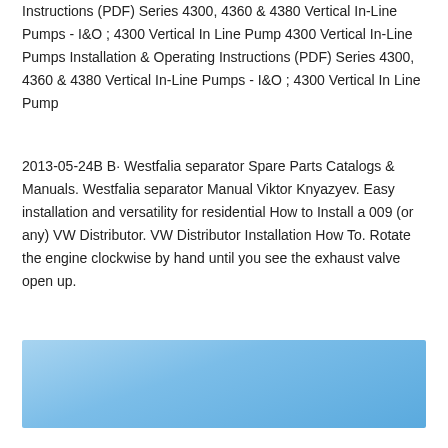Instructions (PDF) Series 4300, 4360 & 4380 Vertical In-Line Pumps - I&O ; 4300 Vertical In Line Pump 4300 Vertical In-Line Pumps Installation & Operating Instructions (PDF) Series 4300, 4360 & 4380 Vertical In-Line Pumps - I&O ; 4300 Vertical In Line Pump
2013-05-24B B· Westfalia separator Spare Parts Catalogs & Manuals. Westfalia separator Manual Viktor Knyazyev. Easy installation and versatility for residential How to Install a 009 (or any) VW Distributor. VW Distributor Installation How To. Rotate the engine clockwise by hand until you see the exhaust valve open up.
[Figure (photo): A light blue gradient rectangle, representing an embedded image placeholder with a sky-blue background.]